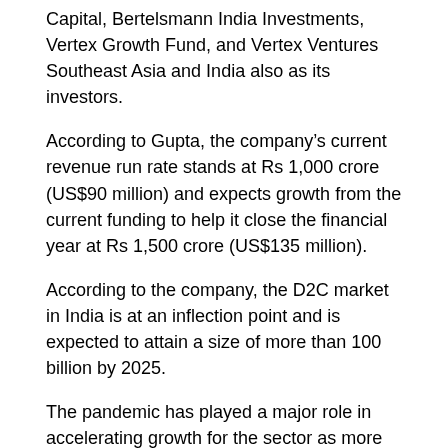Capital, Bertelsmann India Investments, Vertex Growth Fund, and Vertex Ventures Southeast Asia and India also as its investors.
According to Gupta, the company's current revenue run rate stands at Rs 1,000 crore (US$90 million) and expects growth from the current funding to help it close the financial year at Rs 1,500 crore (US$135 million).
According to the company, the D2C market in India is at an inflection point and is expected to attain a size of more than 100 billion by 2025.
The pandemic has played a major role in accelerating growth for the sector as more consumers were forced to buy their supplies online in an attempt to avoid crowds associated with in-store buying.
Licious took advantage of the online purchasing trend, disrupting the meat and seafood category which has largely